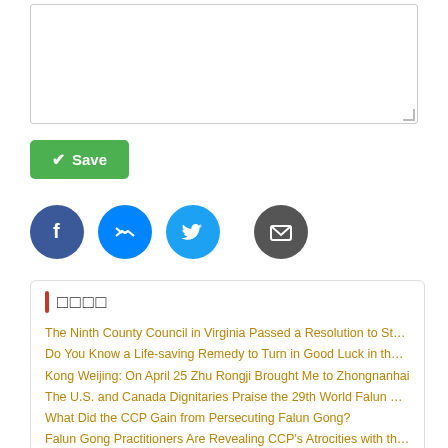[Figure (screenshot): Textarea input box with resize handle]
[Figure (screenshot): Green Save button with checkmark icon]
[Figure (screenshot): Social share icons: Facebook, Messenger, Twitter, Google Plus (broken image), Email]
The Ninth County Council in Virginia Passed a Resolution to Stop th
Do You Know a Life-saving Remedy to Turn in Good Luck in the Pa
Kong Weijing: On April 25 Zhu Rongji Brought Me to Zhongnanhai
The U.S. and Canada Dignitaries Praise the 29th World Falun Dafa D
What Did the CCP Gain from Persecuting Falun Gong?
Falun Gong Practitioners Are Revealing CCP's Atrocities with the W
A Movie That Will Never Be Released in Mainland: "The Chosen"
Falun Gong Practitioners Clarify the Truth in Various Ways during th
Washington D.C. Falun Gong Practitioners Attended Parades and Co
Sorrow of Blind Obedience